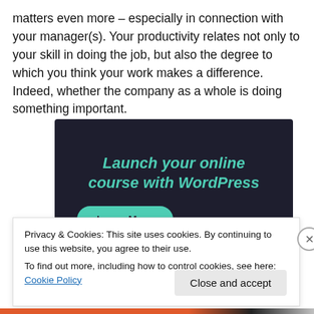matters even more – especially in connection with your manager(s). Your productivity relates not only to your skill in doing the job, but also the degree to which you think your work makes a difference. Indeed, whether the company as a whole is doing something important.
[Figure (other): Dark-themed advertisement banner with teal text reading 'Launch your online course with WordPress' and a teal 'Learn More' button.]
Privacy & Cookies: This site uses cookies. By continuing to use this website, you agree to their use.
To find out more, including how to control cookies, see here: Cookie Policy
Close and accept